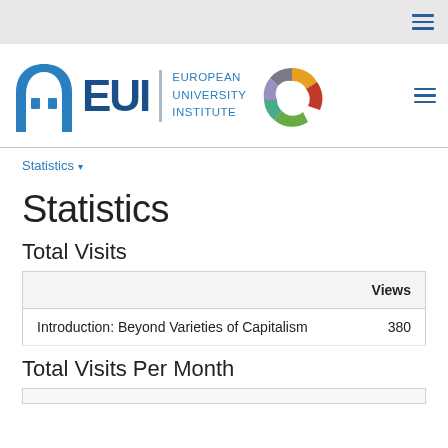[Figure (logo): EUI European University Institute logo with blue arch/building icon, bold EUI text, and colorful donut/C chart icon]
Statistics ▾
Statistics
Total Visits
|  | Views |
| --- | --- |
| Introduction: Beyond Varieties of Capitalism | 380 |
Total Visits Per Month